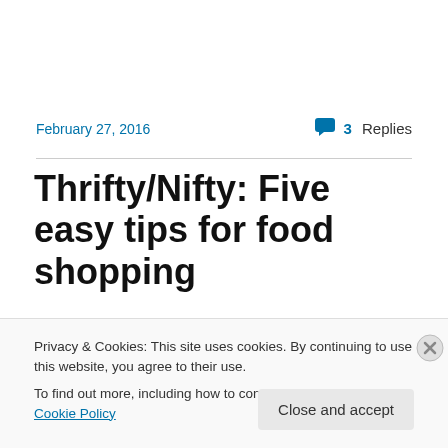February 27, 2016
3 Replies
Thrifty/Nifty: Five easy tips for food shopping
[Figure (photo): Partial photo of food items visible behind the cookie consent banner]
Privacy & Cookies: This site uses cookies. By continuing to use this website, you agree to their use.
To find out more, including how to control cookies, see here: Cookie Policy
Close and accept